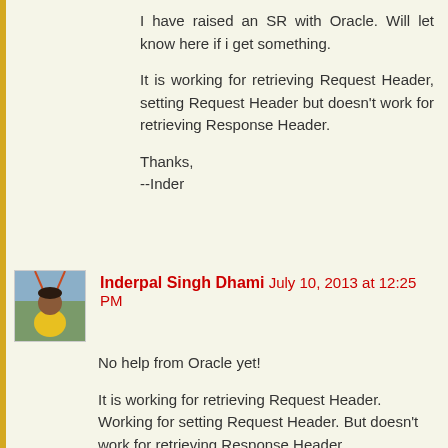I have raised an SR with Oracle. Will let know here if i get something.
It is working for retrieving Request Header, setting Request Header but doesn't work for retrieving Response Header.
Thanks,
--Inder
[Figure (photo): Avatar photo of Inderpal Singh Dhami showing a person in yellow shirt with bridge in background]
Inderpal Singh Dhami July 10, 2013 at 12:25 PM
No help from Oracle yet!
It is working for retrieving Request Header. Working for setting Request Header. But doesn't work for retrieving Response Header.
That given me a feeling that it could be that i am doing something wrong.